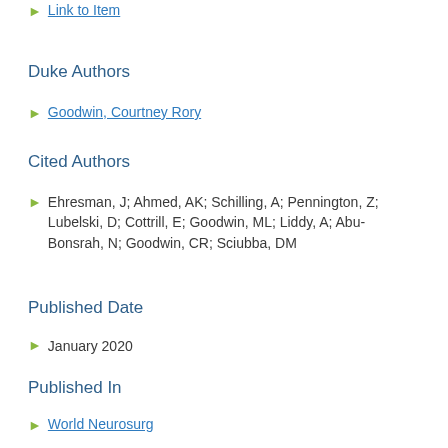Link to Item
Duke Authors
Goodwin, Courtney Rory
Cited Authors
Ehresman, J; Ahmed, AK; Schilling, A; Pennington, Z; Lubelski, D; Cottrill, E; Goodwin, ML; Liddy, A; Abu-Bonsrah, N; Goodwin, CR; Sciubba, DM
Published Date
January 2020
Published In
World Neurosurg
Volume / Issue
133 /